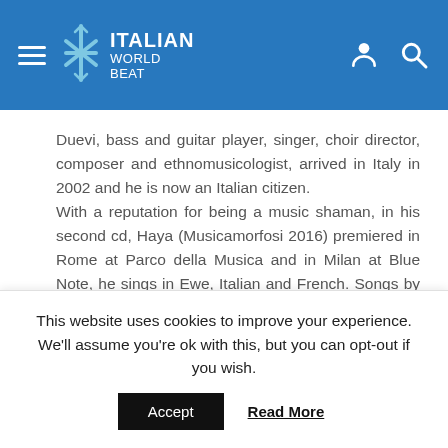ITALIAN WORLD BEAT
Duevi, bass and guitar player, singer, choir director, composer and ethnomusicologist, arrived in Italy in 2002 and he is now an Italian citizen. With a reputation for being a music shaman, in his second cd, Haya (Musicamorfosi 2016) premiered in Rome at Parco della Musica and in Milan at Blue Note, he sings in Ewe, Italian and French. Songs by Fabrizio De André and Boris Vian are performed in a peculiar afro style next to his original compositions, sharing the same message that comes directly form the
This website uses cookies to improve your experience. We'll assume you're ok with this, but you can opt-out if you wish.